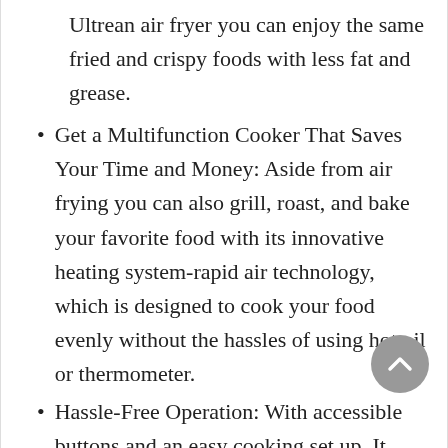Ultrean air fryer you can enjoy the same fried and crispy foods with less fat and grease.
Get a Multifunction Cooker That Saves Your Time and Money: Aside from air frying you can also grill, roast, and bake your favorite food with its innovative heating system-rapid air technology, which is designed to cook your food evenly without the hassles of using hot oil or thermometer.
Hassle-Free Operation: With accessible buttons and an easy cooking set up, It comes with an auto switch off timer (0-30mins) and